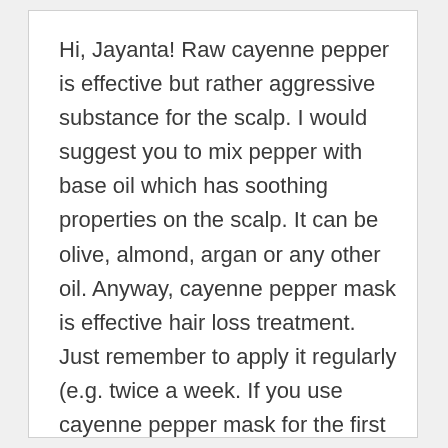Hi, Jayanta! Raw cayenne pepper is effective but rather aggressive substance for the scalp. I would suggest you to mix pepper with base oil which has soothing properties on the scalp. It can be olive, almond, argan or any other oil. Anyway, cayenne pepper mask is effective hair loss treatment. Just remember to apply it regularly (e.g. twice a week. If you use cayenne pepper mask for the first time, then don't leave it on more than five minutes. You can prolong that time